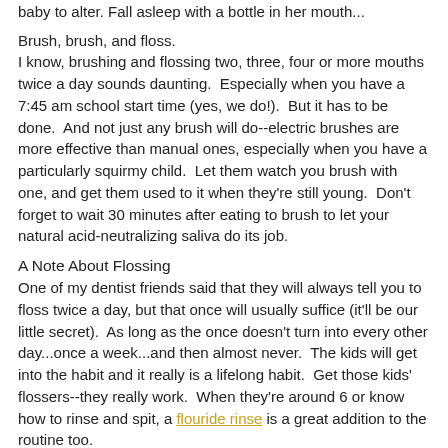baby to alter. Fall asleep with a bottle in her mouth...
Brush, brush, and floss.
I know, brushing and flossing two, three, four or more mouths twice a day sounds daunting.  Especially when you have a 7:45 am school start time (yes, we do!).  But it has to be done.  And not just any brush will do--electric brushes are more effective than manual ones, especially when you have a particularly squirmy child.  Let them watch you brush with one, and get them used to it when they're still young.  Don't forget to wait 30 minutes after eating to brush to let your natural acid-neutralizing saliva do its job.
A Note About Flossing
One of my dentist friends said that they will always tell you to floss twice a day, but that once will usually suffice (it'll be our little secret).  As long as the once doesn't turn into every other day...once a week...and then almost never.  The kids will get into the habit and it really is a lifelong habit.  Get those kids' flossers--they really work.  When they're around 6 or know how to rinse and spit, a flouride rinse is a great addition to the routine too.